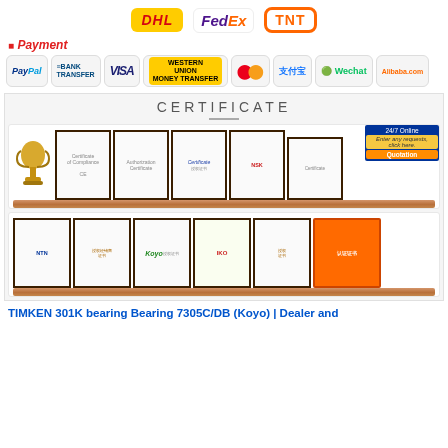[Figure (logo): DHL, FedEx, and TNT shipping company logos displayed in a row]
Payment
[Figure (logo): Payment method logos: PayPal, Bank Transfer, VISA, Western Union, MasterCard, Alipay, Wechat, Alibaba.com]
[Figure (photo): Certificate section showing two shelves of framed certificates and awards including NTN, Koyo, IKO and other brand authorizations, plus a trophy. A 24/7 online customer service badge with agent photo appears on the right.]
TIMKEN 301K bearing Bearing 7305C/DB (Koyo) | Dealer and